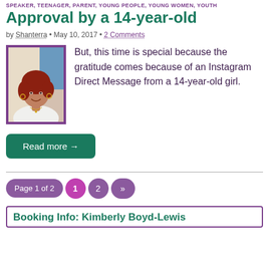SPEAKER, TEENAGER, PARENT, YOUNG PEOPLE, YOUNG WOMEN, YOUTH
Approval by a 14-year-old
by Shanterra • May 10, 2017 • 2 Comments
[Figure (photo): Profile photo of a woman with red hair, smiling, wearing a white top and hoop earrings, framed with purple border]
But, this time is special because the gratitude comes because of an Instagram Direct Message from a 14-year-old girl.
Read more →
Page 1 of 2  1  2  »
Booking Info: Kimberly Boyd-Lewis